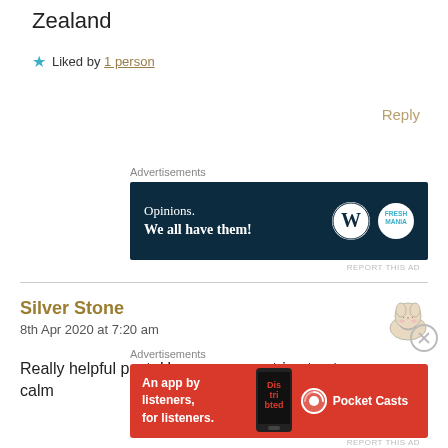Zealand
★ Liked by 1 person
Reply
Advertisements
[Figure (other): WordPress ad banner: 'Opinions. We all have them!' on dark navy background with WordPress and Fresh Mania logos]
REPORT THIS AD
Silver Stone
8th Apr 2020 at 7:20 am
[Figure (illustration): Small avatar illustration of a sleeping/resting animal character]
Really helpful post. Hope everyone tries to stay calm
Advertisements
[Figure (other): Pocket Casts ad banner: 'An app by listeners, for listeners.' on red background with phone image and Pocket Casts logo]